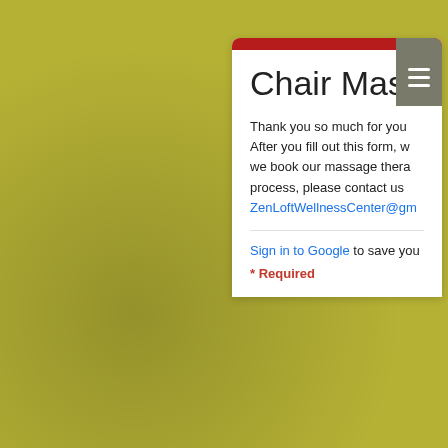[Figure (screenshot): Google Form screenshot showing a Chair Massage sign-up form on an olive/yellow-green background with silhouette of massage hands. A white card panel shows the form title 'Chair Massa[ge]', introductory text referencing ZenLoftWellnessCenter email, a Sign in to Google prompt, a Required notice, and a 'Your name *' field with 'Your answer' placeholder.]
Chair Massage
Thank you so much for you After you fill out this form, w we book our massage thera process, please contact us
ZenLoftWellnessCenter@gm
Sign in to Google to save you
* Required
Your name *
Your answer